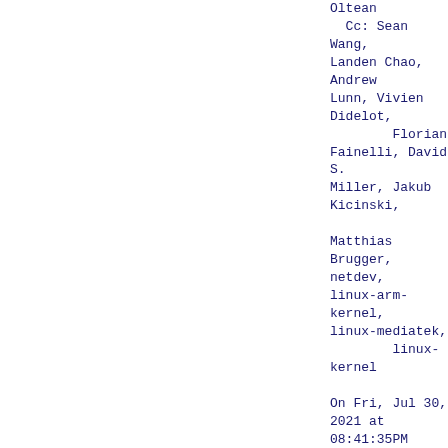Oltean
  Cc: Sean Wang, Landen Chao, Andrew Lunn, Vivien Didelot,
        Florian Fainelli, David S. Miller, Jakub Kicinski,
        Matthias Brugger, netdev, linux-arm-kernel, linux-mediatek,
        linux-kernel

On Fri, Jul 30, 2021 at 08:41:35PM +0300, Vladimir Oltean wrote:
> On Fri, Jul 30, 2021 at 08:39:02PM +0300, Vladimir Oltean wrote:
> > Ah, mt7530 is one of the switches which has multiple CPU ports, I had
> > forgotten that. In that case, then